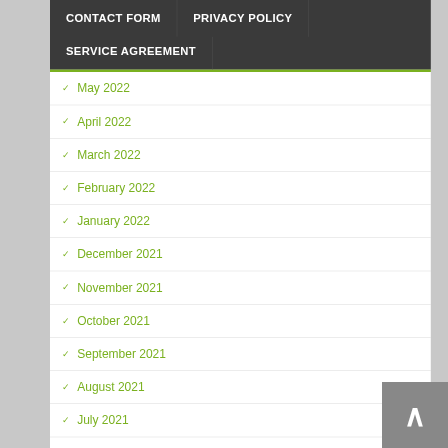CONTACT FORM | PRIVACY POLICY
SERVICE AGREEMENT
May 2022
April 2022
March 2022
February 2022
January 2022
December 2021
November 2021
October 2021
September 2021
August 2021
July 2021
June 2021